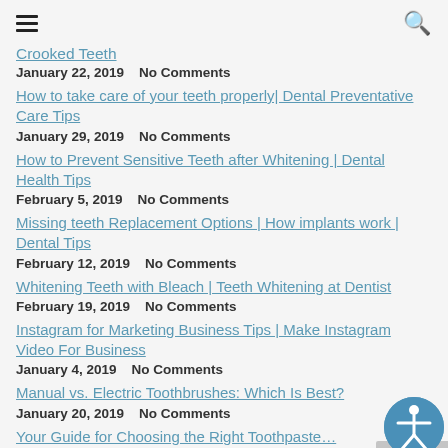Crooked Teeth
January 22, 2019   No Comments
How to take care of your teeth properly| Dental Preventative Care Tips
January 29, 2019   No Comments
How to Prevent Sensitive Teeth after Whitening | Dental Health Tips
February 5, 2019   No Comments
Missing teeth Replacement Options | How implants work | Dental Tips
February 12, 2019   No Comments
Whitening Teeth with Bleach | Teeth Whitening at Dentist
February 19, 2019   No Comments
Instagram for Marketing Business Tips | Make Instagram Video For Business
January 4, 2019   No Comments
Manual vs. Electric Toothbrushes: Which Is Best?
January 20, 2019   No Comments
Your Guide for Choosing the Right Toothpaste…